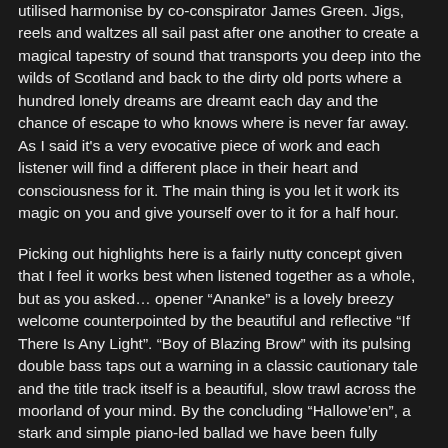utilised harmonise by co-conspirator James Green. Jigs, reels and waltzes all sail past after one another to create a magical tapestry of sound that transports you deep into the wilds of Scotland and back to the dirty old ports where a hundred lonely dreams are dreamt each day and the chance of escape to who knows where is never far away. As I said it's a very evocative piece of work and each listener will find a different place in their heart and consciousness for it. The main thing is you let it work its magic on you and give yourself over to it for a half hour.
Picking out highlights here is a fairly nutty concept given that I feel it works best when listened together as a whole, but as you asked… opener “Ananke” is a lovely breezy welcome counterpointed by the beautiful and reflective “If There Is Any Light”. “Boy of Blazing Brow” with its pulsing double bass taps out a warning in a classic cautionary tale and the title track itself is a beautiful, slow trawl across the moorland of your mind. By the concluding “Hallowe’en”, a stark and simple piano-led ballad we have been fully immersed in the world created by these two estimable and fine musicians to such effect that I am thinking about moving out to some fishing village on the east coast of Scotland where...